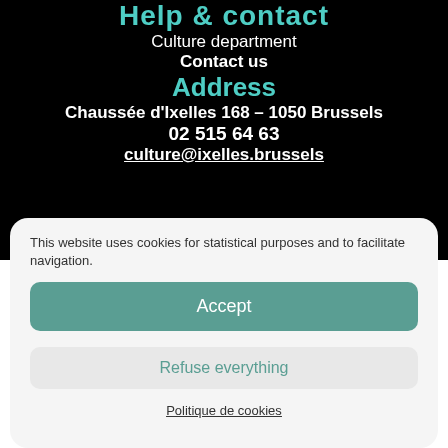Help & contact
Culture department
Contact us
Address
Chaussée d'Ixelles 168 – 1050 Brussels
02 515 64 63
culture@ixelles.brussels
This website uses cookies for statistical purposes and to facilitate navigation.
Accept
Refuse everything
Politique de cookies